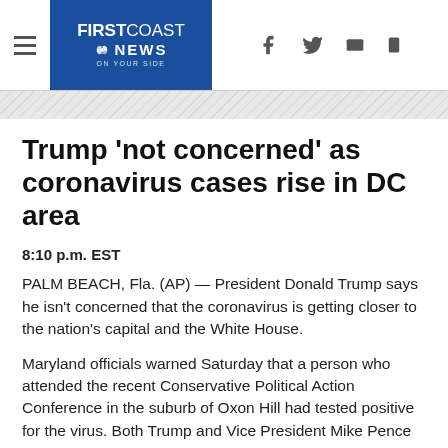FIRST COAST NEWS
Trump 'not concerned' as coronavirus cases rise in DC area
8:10 p.m. EST
PALM BEACH, Fla. (AP) — President Donald Trump says he isn't concerned that the coronavirus is getting closer to the nation's capital and the White House.
Maryland officials warned Saturday that a person who attended the recent Conservative Political Action Conference in the suburb of Oxon Hill had tested positive for the virus. Both Trump and Vice President Mike Pence